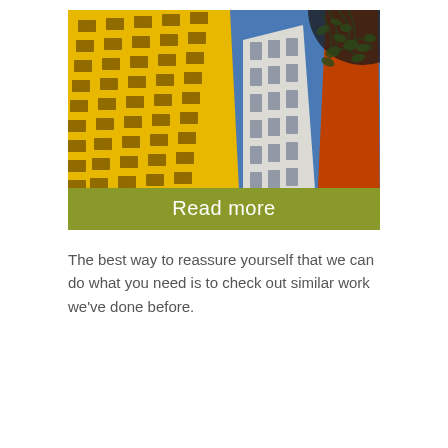[Figure (photo): Looking upward at colorful modern buildings against a blue sky. On the left is a large yellow building with a grid of dark windows. In the center-right is a white/grey multi-story building. On the far right is an orange/red building. Tree branches are visible in the top right corner. A dark circular shape is partially visible in the top right. At the bottom of the image is an olive-green bar with the text 'Read more' in white.]
The best way to reassure yourself that we can do what you need is to check out similar work we've done before.